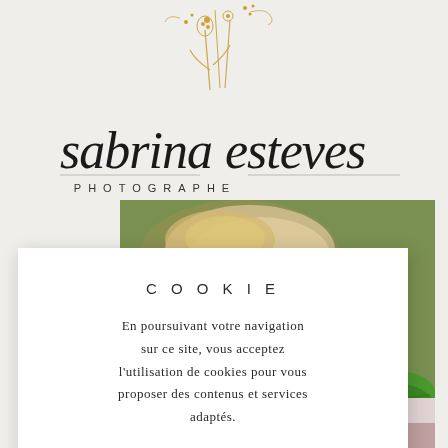menu
[Figure (logo): Sabrina Esteves Photographe logo with script handwriting and wildflower botanical illustration in gold/tan]
[Figure (photo): Background photo of a newborn baby on green background with green fabric wrap]
COOKIE
En poursuivant votre navigation sur ce site, vous acceptez l'utilisation de cookies pour vous proposer des contenus et services adaptés.
En savoir plus
Accepter
[Figure (photo): Bottom strip showing colorful macarons on checkered tablecloth]